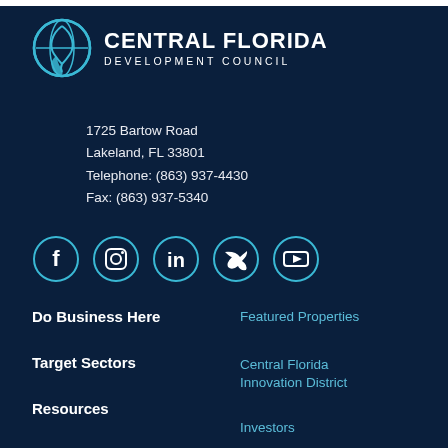[Figure (logo): Central Florida Development Council logo with circular map icon and bold text]
1725 Bartow Road
Lakeland, FL 33801
Telephone: (863) 937-4430
Fax: (863) 937-5340
[Figure (infographic): Row of social media icons: Facebook, Instagram, LinkedIn, Twitter, YouTube — teal circle outlines with white icons]
Do Business Here
Target Sectors
Resources
About Us
Featured Properties
Central Florida Innovation District
Investors
Partners